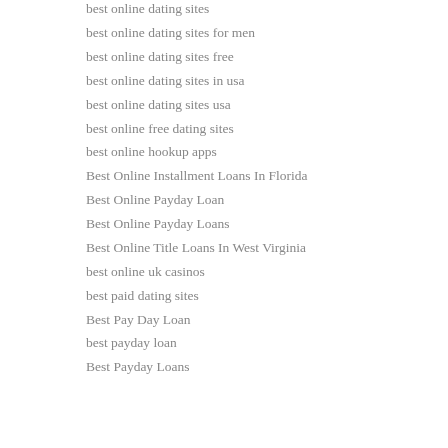best online dating sites
best online dating sites for men
best online dating sites free
best online dating sites in usa
best online dating sites usa
best online free dating sites
best online hookup apps
Best Online Installment Loans In Florida
Best Online Payday Loan
Best Online Payday Loans
Best Online Title Loans In West Virginia
best online uk casinos
best paid dating sites
Best Pay Day Loan
best payday loan
Best Payday Loans